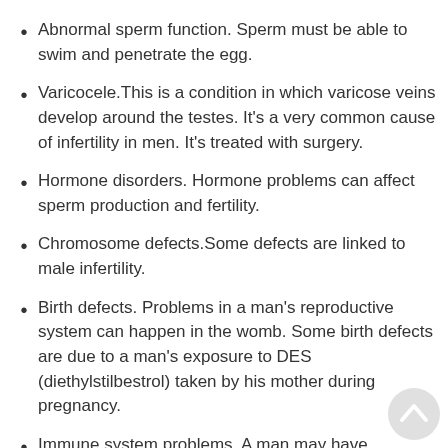Abnormal sperm function. Sperm must be able to swim and penetrate the egg.
Varicocele.This is a condition in which varicose veins develop around the testes. It’s a very common cause of infertility in men. It’s treated with surgery.
Hormone disorders. Hormone problems can affect sperm production and fertility.
Chromosome defects.Some defects are linked to male infertility.
Birth defects. Problems in a man's reproductive system can happen in the womb. Some birth defects are due to a man's exposure to DES (diethylstilbestrol) taken by his mother during pregnancy.
Immune system problems. A man may have antisperm antibodies. These attack and destroy